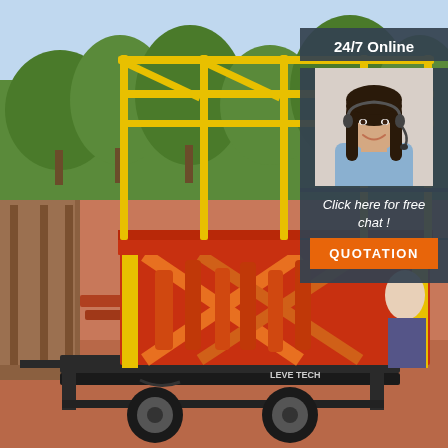[Figure (photo): Outdoor photo of a red and yellow scissor lift (mobile elevated work platform) on a black trailer frame with wheels, photographed in an industrial yard with trees in the background on a sunny day. A person is partially visible behind the equipment.]
24/7 Online
[Figure (photo): Photo of a smiling woman with dark hair wearing a headset/microphone, dressed in a light blue shirt, representing a customer service agent.]
Click here for free chat !
QUOTATION